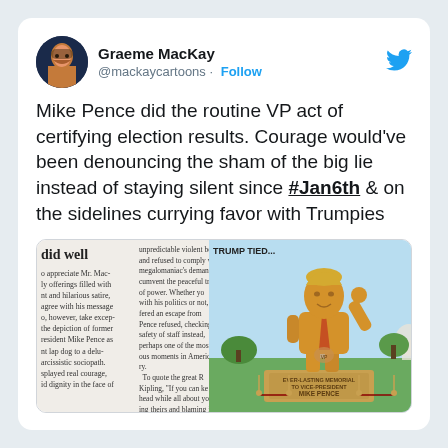Graeme MacKay @mackaycartoons · Follow
Mike Pence did the routine VP act of certifying election results. Courage would've been denouncing the sham of the big lie instead of staying silent since #Jan6th & on the sidelines currying favor with Trumpies
[Figure (illustration): Embedded tweet image showing a newspaper column excerpt on the left and a political cartoon on the right of a golden Trump statue labeled 'EVER-LASTING MEMORIAL TO VICE-PRESIDENT MIKE PENCE' with text 'TRUMP TIED...']